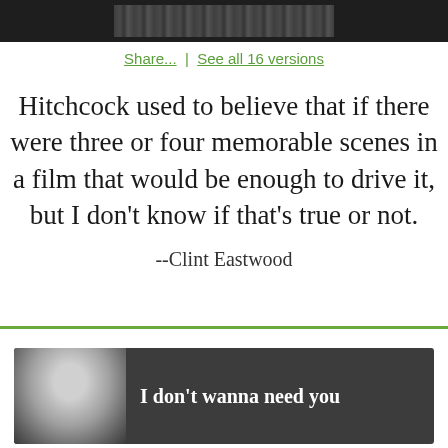[Figure (photo): Partial top image cropped, showing a dark background with a partially visible person/face image in grayscale]
Share...  |  See all 16 versions
Hitchcock used to believe that if there were three or four memorable scenes in a film that would be enough to drive it, but I don't know if that's true or not.
--Clint Eastwood
[Figure (photo): Bottom card with dark background showing a black and white photo of a person with text 'I don't wanna need you']